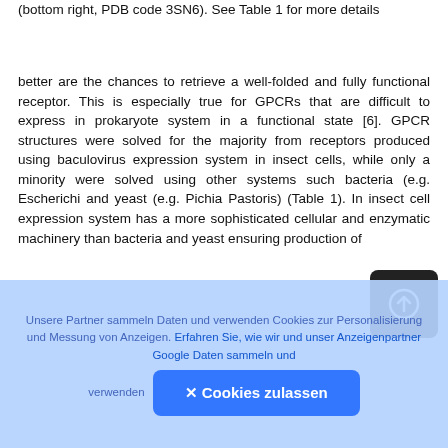(bottom right, PDB code 3SN6). See Table 1 for more details
better are the chances to retrieve a well-folded and fully functional receptor. This is especially true for GPCRs that are difficult to express in prokaryote system in a functional state [6]. GPCR structures were solved for the majority from receptors produced using baculovirus expression system in insect cells, while only a minority were solved using other systems such bacteria (e.g. Escherichia and yeast (e.g. Pichia Pastoris) (Table 1). In insect cell expression system has a more sophisticated cellular and enzymatic machinery than bacteria and yeast ensuring production of
Unsere Partner sammeln Daten und verwenden Cookies zur Personalisierung und Messung von Anzeigen. Erfahren Sie, wie wir und unser Anzeigenpartner Google Daten sammeln und verwenden  ✕ Cookies zulassen